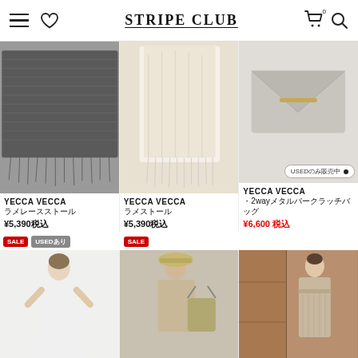STRIPE CLUB — navigation header with hamburger menu, heart icon, logo, cart icon, search icon
[Figure (photo): Dark grey metallic lace stole product photo]
YECCA VECCA
ラメレースストール
¥5,390税込
[Figure (photo): Ivory/cream metallic stole product photo]
YECCA VECCA
ラメストール
¥5,390税込
[Figure (photo): Light grey envelope clutch bag with metal bar detail — USED only]
YECCA VECCA
・2wayメタルバークラッチバッグ
¥6,600 税込
[Figure (photo): Woman in white midi dress, SALE and USEDあり tags]
[Figure (photo): Woman in trench coat with straw hat and bag, SALE tag]
[Figure (photo): Woman in beige/taupe pleated formal dress]